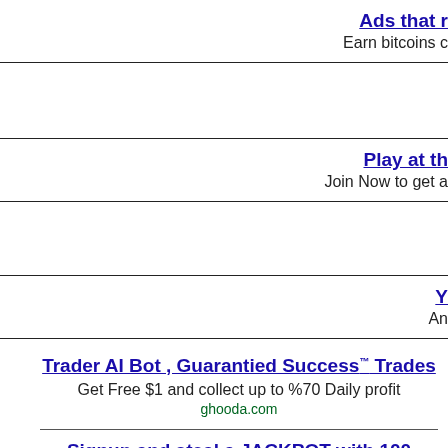Ads that r
Earn bitcoins c
Play at th
Join Now to get a
Y
An
Trader AI Bot , Guarantied Success™ Trades
Get Free $1 and collect up to %70 Daily profit
ghooda.com
Signup and steal a JACKPOT with 100 FREE Spins